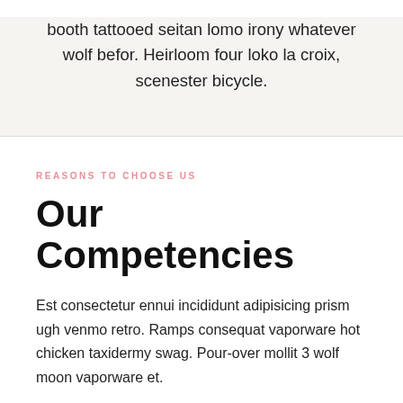booth tattooed seitan lomo irony whatever wolf befor. Heirloom four loko la croix, scenester bicycle.
REASONS TO CHOOSE US
Our Competencies
Est consectetur ennui incididunt adipisicing prism ugh venmo retro. Ramps consequat vaporware hot chicken taxidermy swag. Pour-over mollit 3 wolf moon vaporware et.